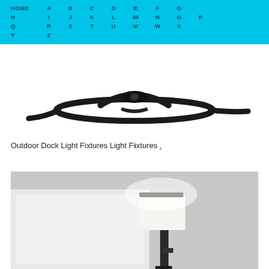HOME A B C D E F G H I J K L M N O P Q R S T U V W X Y Z
[Figure (photo): Close-up of a dark black metal outdoor dock light fixture with curved arms, viewed from above/side against white background]
Outdoor Dock Light Fixtures Light Fixtures .
[Figure (photo): Wall-mounted bedside lamp with white cylindrical shade and dark metal body, glowing against a white headboard and grey wall]